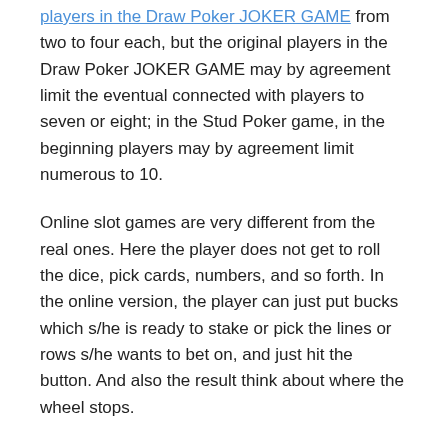players in the Draw Poker JOKER GAME may by agreement limit the eventual connected with players to seven or eight; in the Stud Poker game, in the beginning players may by agreement limit numerous to 10.
Online slot games are very different from the real ones. Here the player does not get to roll the dice, pick cards, numbers, and so forth. In the online version, the player can just put bucks which s/he is ready to stake or pick the lines or rows s/he wants to bet on, and just hit the button. And also the result think about where the wheel stops.
The cards are assigned different values and have different tasks, for instance, the Lady is implemented in two directions. She can be used during a discard to bar the next player from obtaining the discard pile or she'll be used as an additive on the clean group for 250 bonus directs. If a player is holding the Lady when the round ends, it counts as 400-500 points with individual